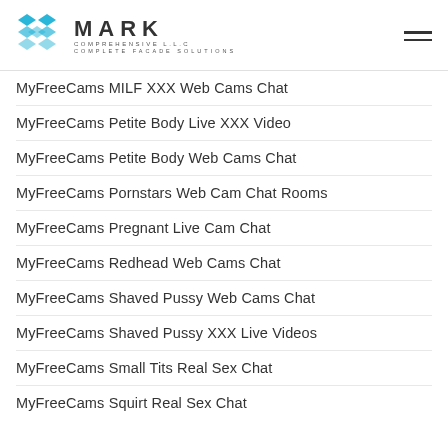MARK COMPREHENSIVE L.L.C — COMPLETE FACADE SOLUTIONS
MyFreeCams MILF XXX Web Cams Chat
MyFreeCams Petite Body Live XXX Video
MyFreeCams Petite Body Web Cams Chat
MyFreeCams Pornstars Web Cam Chat Rooms
MyFreeCams Pregnant Live Cam Chat
MyFreeCams Redhead Web Cams Chat
MyFreeCams Shaved Pussy Web Cams Chat
MyFreeCams Shaved Pussy XXX Live Videos
MyFreeCams Small Tits Real Sex Chat
MyFreeCams Squirt Real Sex Chat